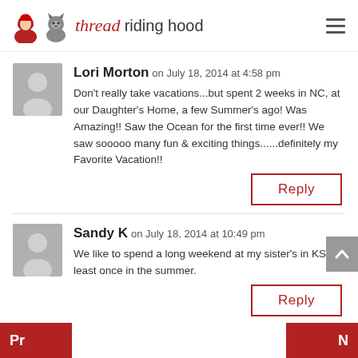thread riding hood
Lori Morton on July 18, 2014 at 4:58 pm
Don't really take vacations...but spent 2 weeks in NC, at our Daughter's Home, a few Summer's ago! Was Amazing!! Saw the Ocean for the first time ever!! We saw sooooo many fun & exciting things......definitely my Favorite Vacation!!
Reply
Sandy K on July 18, 2014 at 10:49 pm
We like to spend a long weekend at my sister's in KS at least once in the summer.
Reply